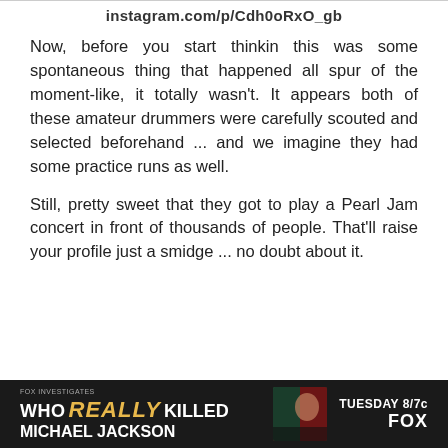instagram.com/p/Cdh0oRxO_gb
Now, before you start thinkin this was some spontaneous thing that happened all spur of the moment-like, it totally wasn't. It appears both of these amateur drummers were carefully scouted and selected beforehand ... and we imagine they had some practice runs as well.
Still, pretty sweet that they got to play a Pearl Jam concert in front of thousands of people. That'll raise your profile just a smidge ... no doubt about it.
[Figure (infographic): Advertisement banner for Fox show 'Who REALLY Killed Michael Jackson' - Tuesday 8/7c on FOX. Dark background with show logo text and partial face image.]